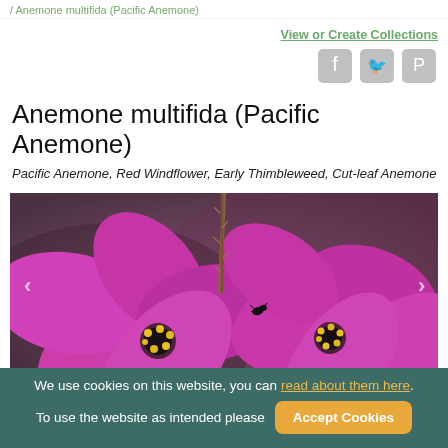/ Anemone multifida (Pacific Anemone)
View or Create Collections
Anemone multifida (Pacific Anemone)
Pacific Anemone, Red Windflower, Early Thimbleweed, Cut-leaf Anemone
[Figure (photo): Close-up photograph of magenta/hot pink Pacific Anemone flowers with yellow stamens and a small black insect on one petal, hairy stem visible, blurred brown background]
We use cookies on this website, you can read about them here. To use the website as intended please  Accept Cookies